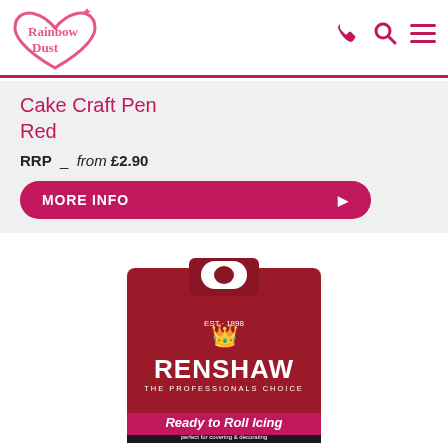[Figure (logo): Rainbow Dust logo - pink cursive text inside a pink heart outline with sparkle]
[Figure (infographic): Navigation icons: phone, search (magnifying glass), and hamburger menu in dark pink/magenta]
Cake Craft Pen Red
RRP _ from £2.90
MORE INFO ▶
[Figure (photo): Renshaw Ready to Roll Icing red packaging bag with royal crest logo, text: RENSHAW THE PROFESSIONALS CHOICE, Ready to Roll Icing, perfect for covering & decorating]